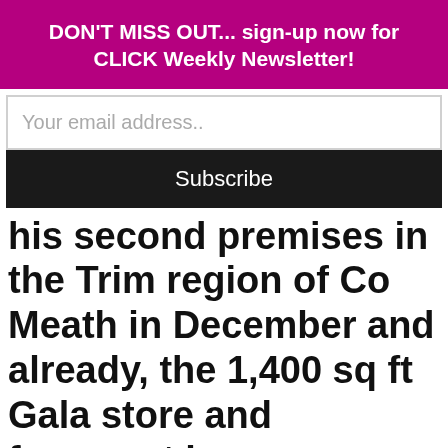DON'T MISS OUT... sign-up now for CLICK Weekly Newsletter!
Your email address..
Subscribe
his second premises in the Trim region of Co Meath in December and already, the 1,400 sq ft Gala store and forecourt has re-established a strong trading presence in the area